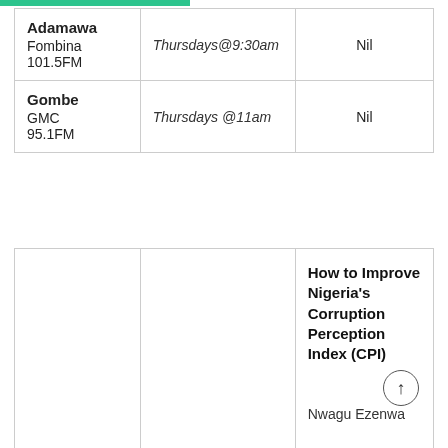| Station | Schedule | Topic |
| --- | --- | --- |
| Adamawa
Fombina 101.5FM | Thursdays@9:30am | Nil |
| Gombe
GMC 95.1FM | Thursdays @11am | Nil |
|  |  | Topic |
| --- | --- | --- |
|  |  | How to Improve Nigeria's Corruption Perception Index (CPI)
Nwagu Ezenwa |